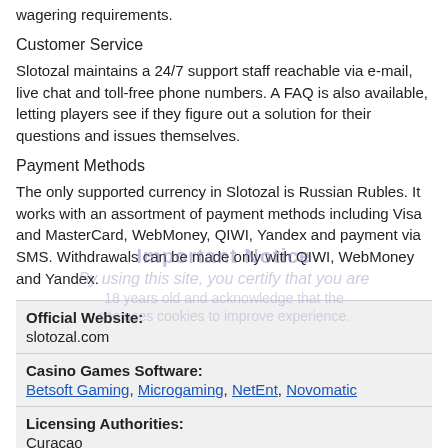wagering requirements.
Customer Service
Slotozal maintains a 24/7 support staff reachable via e-mail, live chat and toll-free phone numbers. A FAQ is also available, letting players see if they figure out a solution for their questions and issues themselves.
Payment Methods
The only supported currency in Slotozal is Russian Rubles. It works with an assortment of payment methods including Visa and MasterCard, WebMoney, QIWI, Yandex and payment via SMS. Withdrawals can be made only with QIWI, WebMoney and Yandex.
| Field | Value |
| --- | --- |
| Official Website: | slotozal.com |
| Casino Games Software: | Betsoft Gaming, Microgaming, NetEnt, Novomatic |
| Licensing Authorities: | Curacao |